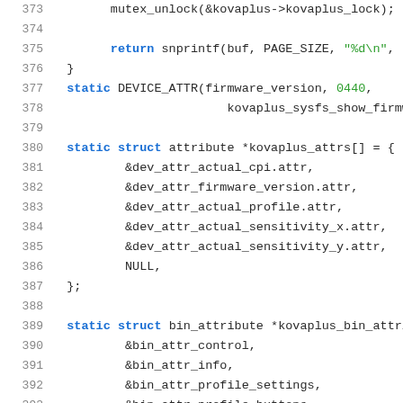[Figure (screenshot): Source code listing showing C code lines 373-394, with syntax highlighting. Blue keywords, green strings and numbers, dark text for identifiers. Line numbers in gray on the left gutter.]